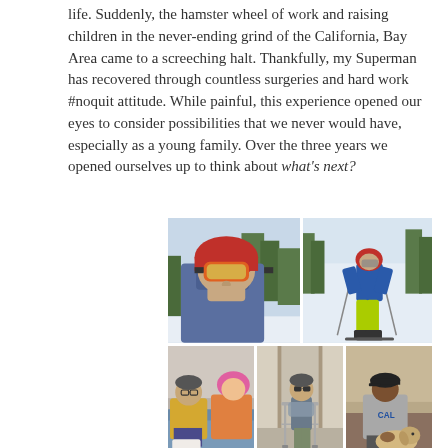life. Suddenly, the hamster wheel of work and raising children in the never-ending grind of the California, Bay Area came to a screeching halt. Thankfully, my Superman has recovered through countless surgeries and hard work #noquit attitude. While painful, this experience opened our eyes to consider possibilities that we never would have, especially as a young family. Over the three years we opened ourselves up to think about what's next?
[Figure (photo): Two rows of photos showing a man skiing. Top row: left photo shows a close-up selfie of a man wearing a red helmet and orange ski goggles with snowy trees in background; right photo shows the same man skiing on slopes wearing blue jacket and bright green/yellow pants with ski poles. Bottom row: three photos showing the man in recovery/rehabilitation situations - left shows him sitting with a woman with pink hair, middle shows him standing with a walker wearing sunglasses, right shows him sitting with a dog wearing a CAL shirt.]